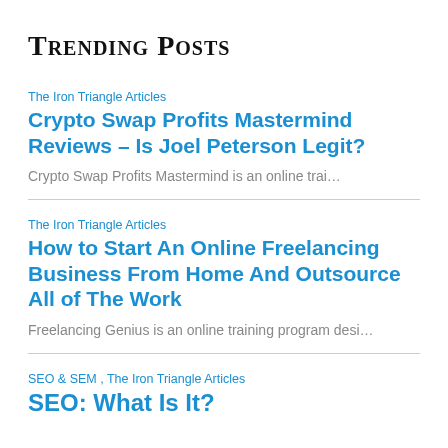Trending Posts
The Iron Triangle Articles
Crypto Swap Profits Mastermind Reviews – Is Joel Peterson Legit?
Crypto Swap Profits Mastermind is an online trai…
The Iron Triangle Articles
How to Start An Online Freelancing Business From Home And Outsource All of The Work
Freelancing Genius is an online training program desi…
SEO & SEM , The Iron Triangle Articles
SEO: What Is It?